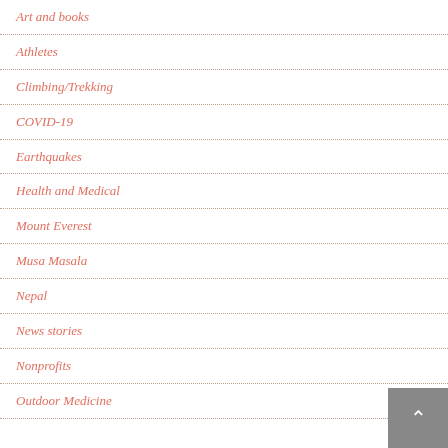Art and books
Athletes
Climbing/Trekking
COVID-19
Earthquakes
Health and Medical
Mount Everest
Musa Masala
Nepal
News stories
Nonprofits
Outdoor Medicine